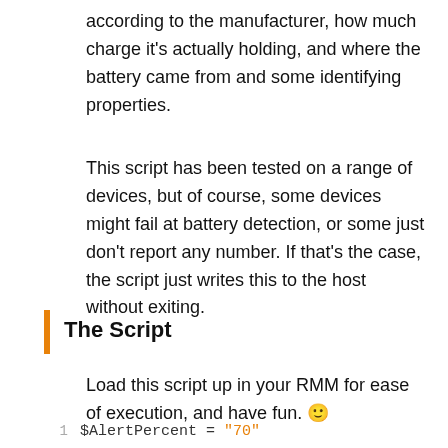according to the manufacturer, how much charge it's actually holding, and where the battery came from and some identifying properties.
This script has been tested on a range of devices, but of course, some devices might fail at battery detection, or some just don't report any number. If that's the case, the script just writes this to the host without exiting.
The Script
Load this script up in your RMM for ease of execution, and have fun. 🙂
1   $AlertPercent = "70"